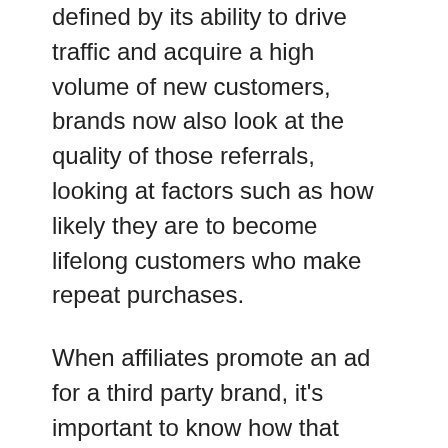defined by its ability to drive traffic and acquire a high volume of new customers, brands now also look at the quality of those referrals, looking at factors such as how likely they are to become lifelong customers who make repeat purchases.
When affiliates promote an ad for a third party brand, it's important to know how that brand should be positioned to its audience. Neglecting this step can lead advertisers to question whether the affiliate relationship is negatively impacting their brand equity. Advertisers are also more mindful of the product return rates, so as an affiliate it's